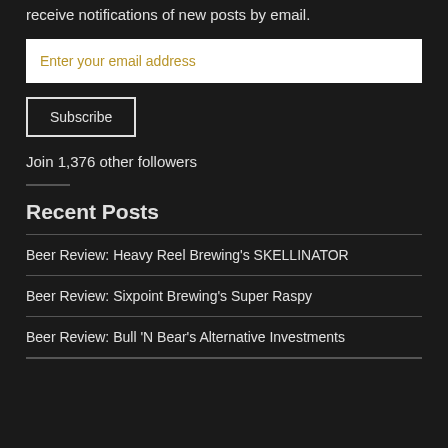receive notifications of new posts by email.
Enter your email address
Subscribe
Join 1,376 other followers
Recent Posts
Beer Review: Heavy Reel Brewing's SKELLINATOR
Beer Review: Sixpoint Brewing's Super Raspy
Beer Review: Bull 'N Bear's Alternative Investments